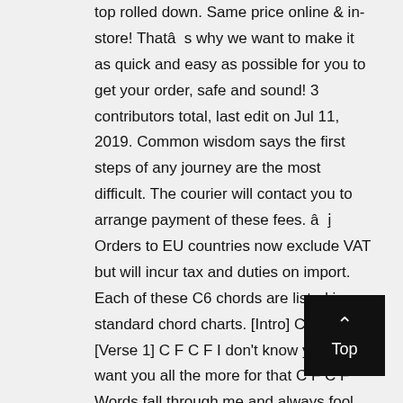top rolled down. Same price online & in-store! Thatâs why we want to make it as quick and easy as possible for you to get your order, safe and sound! 3 contributors total, last edit on Jul 11, 2019. Common wisdom says the first steps of any journey are the most difficult. The courier will contact you to arrange payment of these fees. â¢ Orders to EU countries now exclude VAT but will incur tax and duties on import. Each of these C6 chords are listed in standard chord charts. [Intro] C F C F [Verse 1] C F C F I don't know you, but I want you all the more for that C F C F Words fall through me and always fool me, and I can't react [Pre-chorus] Am G F G Am G F Game Earn one point for every £1 you spend, plus bonus points on selected Pl...